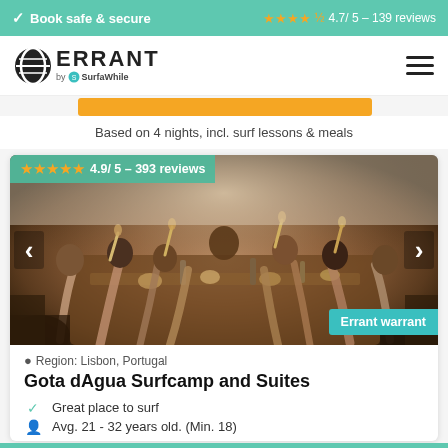✓ Book safe & secure   ★★★★½ 4.7/ 5 – 139 reviews
[Figure (logo): Errant by SurfaWhile logo with hamburger menu]
Based on 4 nights, incl. surf lessons & meals
[Figure (photo): Group of people at a long dining table raising glasses in a toast, outdoor social gathering at surf camp]
★★★★★ 4.9/ 5 – 393 reviews
Errant warrant
Region: Lisbon, Portugal
Gota dAgua Surfcamp and Suites
Great place to surf
Avg. 21 - 32 years old. (Min. 18)